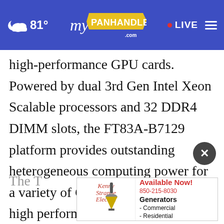81° myPanhandle.com • LIVE
high-performance GPU cards. Powered by dual 3rd Gen Intel Xeon Scalable processors and 32 DDR4 DIMM slots, the FT83A-B7129 platform provides outstanding heterogeneous computing power for a variety of GPU-based scientific high performance computing, AI training, inference, and deep learning applications. The system offers twelve 3.5-inch tool-less drive bays with up to four U.2 NVMe devices.
The T
[Figure (screenshot): Advertisement for Kenny Strange Electric: 'Available Now! Generators 850-215-8030 - Commercial - Residential']